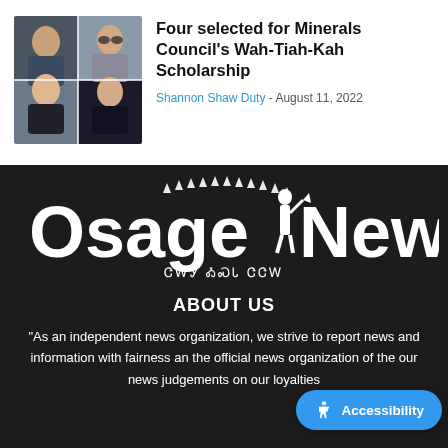[Figure (photo): Collage photo of four scholarship recipients]
Four selected for Minerals Council's Wah-Tiah-Kah Scholarship
Shannon Shaw Duty - August 11, 2022
[Figure (logo): Osage News logo with Osage script subtitle on dark background]
ABOUT US
"As an independent news organization, we strive to report news and information with fairness an the official news organization of the our news judgements on our loyalties